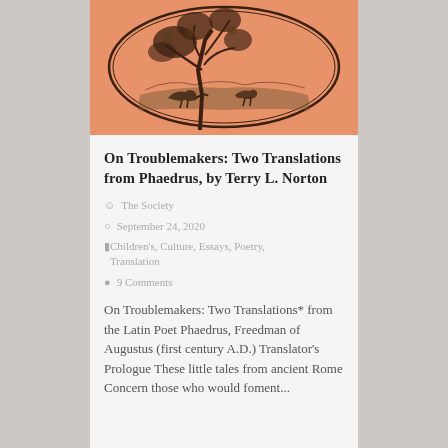[Figure (illustration): Circular etching/engraving on salmon/orange background showing a tree with animals beneath it, classic fable-style illustration]
On Troublemakers: Two Translations from Phaedrus, by Terry L. Norton
The Society
September 24, 2020
Children's, Culture, Essays, Poetry, Translation
9 Comments
On Troublemakers: Two Translations* from the Latin Poet Phaedrus, Freedman of Augustus (first century A.D.) Translator's Prologue These little tales from ancient Rome Concern those who would foment...